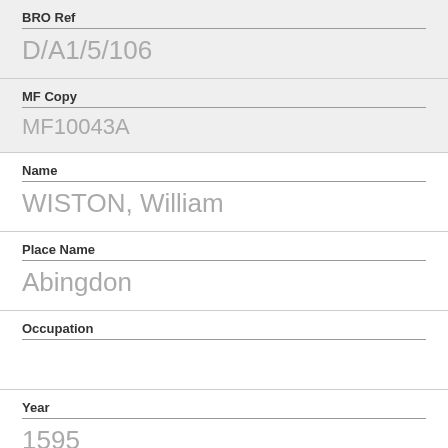BRO Ref
D/A1/5/106
MF Copy
MF10043A
Name
WISTON, William
Place Name
Abingdon
Occupation
Year
1595
BRO Ref
D/A1/10/337